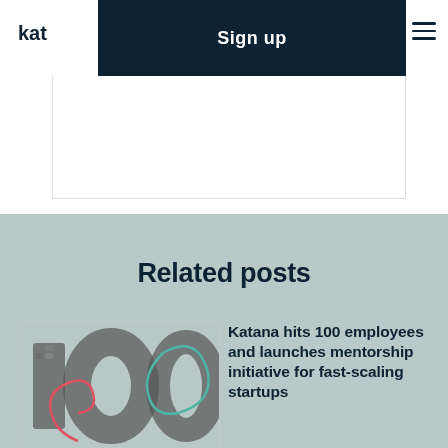kat Sign up ≡
Related posts
[Figure (photo): Collage photo forming the number '100' with employee photos, with decorative teal and red line art overlay]
Katana hits 100 employees and launches mentorship initiative for fast-scaling startups